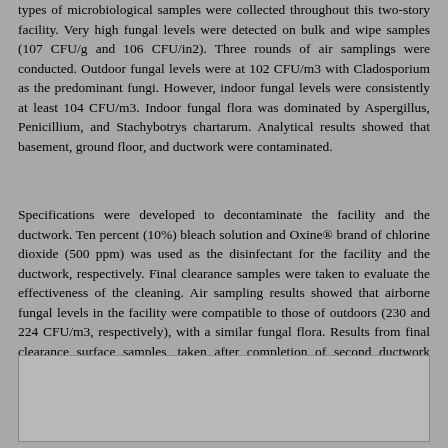types of microbiological samples were collected throughout this two-story facility. Very high fungal levels were detected on bulk and wipe samples (107 CFU/g and 106 CFU/in2). Three rounds of air samplings were conducted. Outdoor fungal levels were at 102 CFU/m3 with Cladosporium as the predominant fungi. However, indoor fungal levels were consistently at least 104 CFU/m3. Indoor fungal flora was dominated by Aspergillus, Penicillium, and Stachybotrys chartarum. Analytical results showed that basement, ground floor, and ductwork were contaminated.
Specifications were developed to decontaminate the facility and the ductwork. Ten percent (10%) bleach solution and Oxine® brand of chlorine dioxide (500 ppm) was used as the disinfectant for the facility and the ductwork, respectively. Final clearance samples were taken to evaluate the effectiveness of the cleaning. Air sampling results showed that airborne fungal levels in the facility were compatible to those of outdoors (230 and 224 CFU/m3, respectively), with a similar fungal flora. Results from final clearance surface samples, taken after completion of second ductwork cleaning, showed that surface fungal burden of this facility was not different from that of a reference building.
[Figure (other): Empty gray box/placeholder rectangle at the bottom of the page]